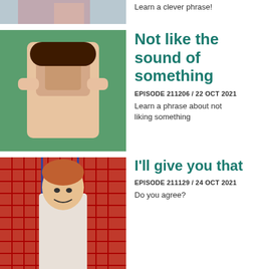[Figure (photo): Partial cropped photo of girl in plaid shirt at top of page]
Learn a clever phrase!
[Figure (photo): Girl covering her ears and screaming, green background]
Not like the sound of something
EPISODE 211206 / 22 OCT 2021
Learn a phrase about not liking something
[Figure (photo): Red-haired smiling girl making peace sign, red grid fence background]
I'll give you that
EPISODE 211129 / 24 OCT 2021
Do you agree?
[Figure (photo): Close up of violin/cello being played]
Another string to your bow